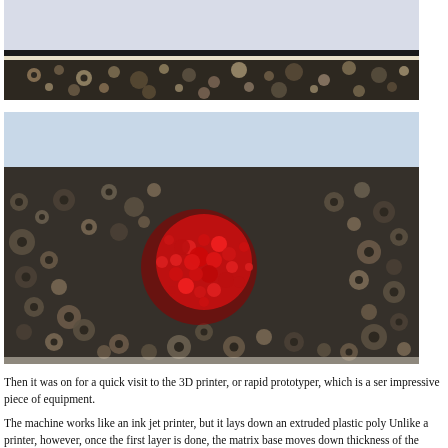[Figure (photo): Close-up photo of a framed artwork made of many small buttons in various earth tones and colors, partially cropped at top of page.]
[Figure (photo): Close-up photo of buttons arranged in a large flat display, with a cluster of bright red and dark red buttons forming a swirling shape in the center, surrounded by neutral-toned buttons of various sizes.]
Then it was on for a quick visit to the 3D printer, or rapid prototyper, which is a ser impressive piece of equipment.
The machine works like an ink jet printer, but it lays down an extruded plastic poly Unlike a printer, however, once the first layer is done, the matrix base moves down thickness of the resin and the process starts again. Gradually a 3D shape takes f